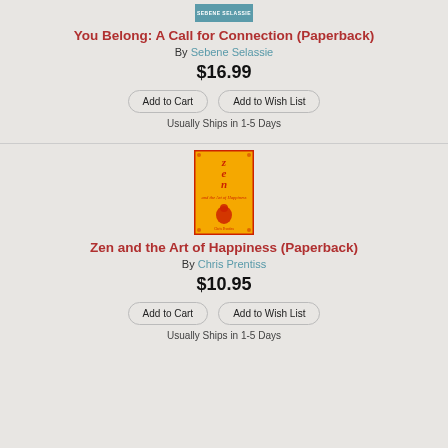[Figure (illustration): Partial book cover for 'You Belong' by Sebene Selassie showing teal/blue color with author name text]
You Belong: A Call for Connection (Paperback)
By Sebene Selassie
$16.99
Add to Cart   Add to Wish List
Usually Ships in 1-5 Days
[Figure (illustration): Book cover for 'Zen and the Art of Happiness' by Chris Prentiss. Orange background with red border, letters Z E N stacked vertically in red italic, subtitle 'and the Art of Happiness', Buddha figure illustration, author name at bottom.]
Zen and the Art of Happiness (Paperback)
By Chris Prentiss
$10.95
Add to Cart   Add to Wish List
Usually Ships in 1-5 Days